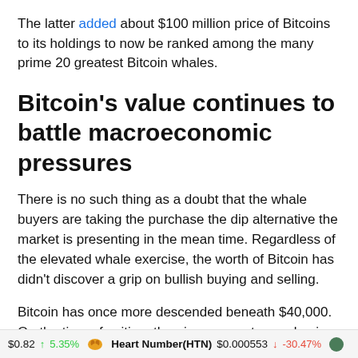The latter added about $100 million price of Bitcoins to its holdings to now be ranked among the many prime 20 greatest Bitcoin whales.
Bitcoin's value continues to battle macroeconomic pressures
There is no such thing as a doubt that the whale buyers are taking the purchase the dip alternative the market is presenting in the mean time. Regardless of the elevated whale exercise, the worth of Bitcoin has didn't discover a grip on bullish buying and selling.
Bitcoin has once more descended beneath $40,000. On the time of writing, the pioneer crypto was buying and selling at round $39,900, down 0.65% within the final 24 hours. It's
$0.82  ↑ 5.35%   Heart Number(HTN)  $0.000553  ↓ -30.47%